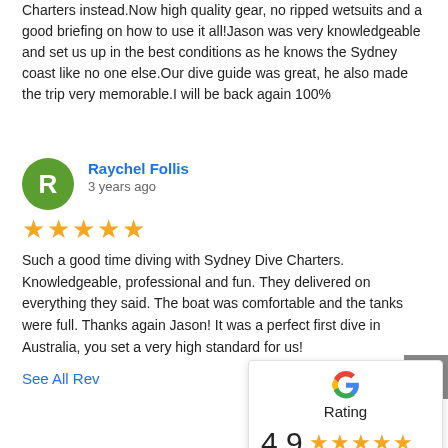Charters instead. Now high quality gear, no ripped wetsuits and a good briefing on how to use it all!Jason was very knowledgeable and set us up in the best conditions as he knows the Sydney coast like no one else.Our dive guide was great, he also made the trip very memorable.I will be back again 100%
Raychel Follis
3 years ago
Such a good time diving with Sydney Dive Charters. Knowledgeable, professional and fun. They delivered on everything they said. The boat was comfortable and the tanks were full. Thanks again Jason! It was a perfect first dive in Australia, you set a very high standard for us!
See All Rev
[Figure (infographic): Google Rating widget showing 4.9 stars with 5 gold stars and a link to read 210 reviews]